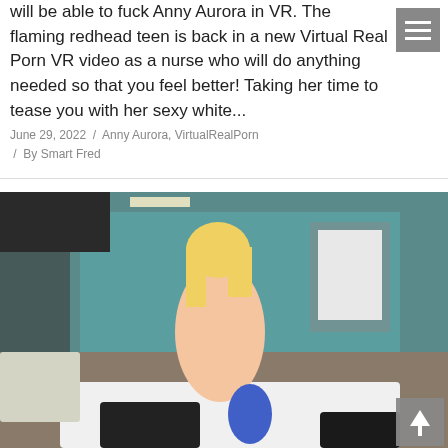will be able to fuck Anny Aurora in VR. The flaming redhead teen is back in a new Virtual Real Porn VR video as a nurse who will do anything needed so that you feel better! Taking her time to tease you with her sexy white...
June 29, 2022  /  Anny Aurora, VirtualRealPorn  /  By Smart Fred
[Figure (photo): Photo of a blonde woman in an indoor studio setting]